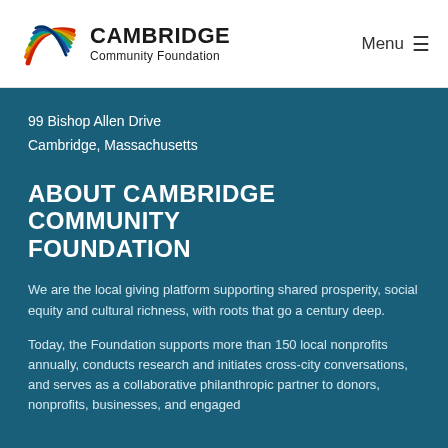Cambridge Community Foundation — Menu
99 Bishop Allen Drive
Cambridge, Massachusetts
ABOUT CAMBRIDGE COMMUNITY FOUNDATION
We are the local giving platform supporting shared prosperity, social equity and cultural richness, with roots that go a century deep.
Today, the Foundation supports more than 150 local nonprofits annually, conducts research and initiates cross-city conversations, and serves as a collaborative philanthropic partner to donors, nonprofits, businesses, and engaged